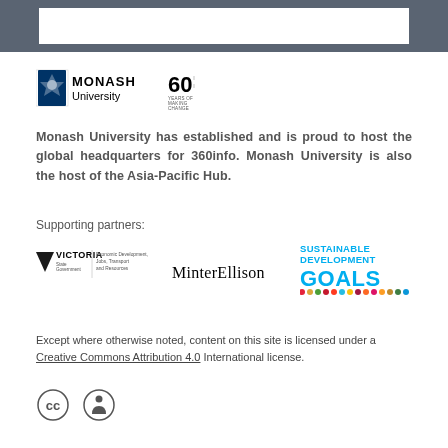[Figure (logo): Monash University logo with crest and '60 years of making change' badge]
Monash University has established and is proud to host the global headquarters for 360info. Monash University is also the host of the Asia-Pacific Hub.
Supporting partners:
[Figure (logo): Victoria State Government - Economic Development, Jobs, Transport and Resources logo]
[Figure (logo): MinterEllison logo]
[Figure (logo): Sustainable Development Goals logo]
Except where otherwise noted, content on this site is licensed under a Creative Commons Attribution 4.0 International license.
[Figure (logo): Creative Commons CC-BY icons]